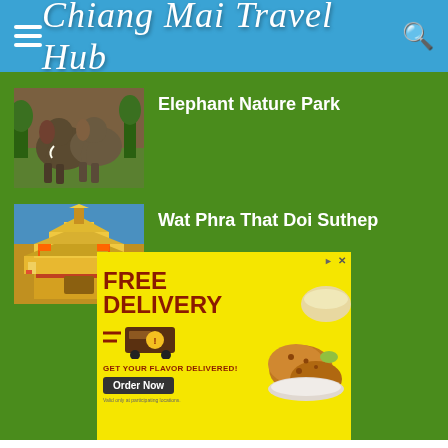Chiang Mai Travel Hub
Elephant Nature Park
Wat Phra That Doi Suthep
[Figure (infographic): Advertisement banner with yellow background: FREE DELIVERY - GET YOUR FLAVOR DELIVERED! Order Now. Valid only at participating locations.]